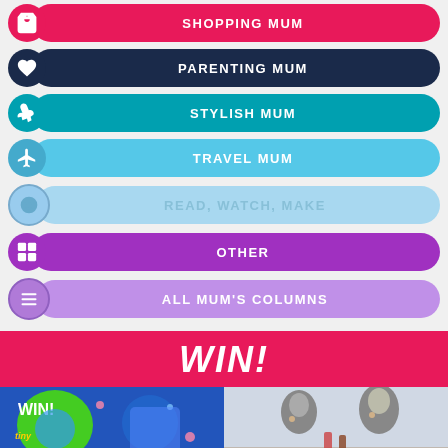SHOPPING MUM
PARENTING MUM
STYLISH MUM
TRAVEL MUM
READ, WATCH, MAKE
OTHER
ALL MUM'S COLUMNS
WIN!
[Figure (photo): WIN! promotional image with Tiny Pop branding and cartoon characters]
[Figure (photo): Photo of a man and woman looking surprised at food/drink on a table]